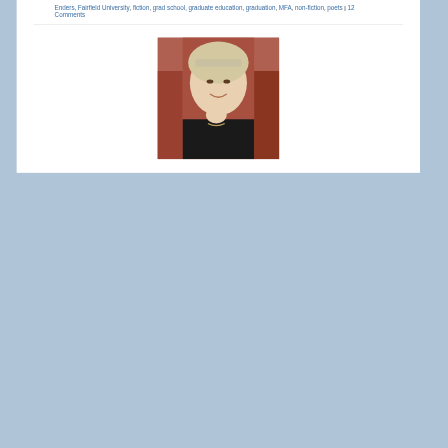Enders, Fairfield University, fiction, grad school, graduate education, graduation, MFA, non-fiction, poets | 12 Comments
[Figure (photo): Portrait of a woman with short blonde hair wearing a patterned headband, sitting in a red chair, smiling, wearing a black sleeveless top]
Privacy & Cookies: This site uses cookies. By continuing to use this website, you agree to their use.
To find out more, including how to control cookies, see here: Cookie Policy
Close and accept